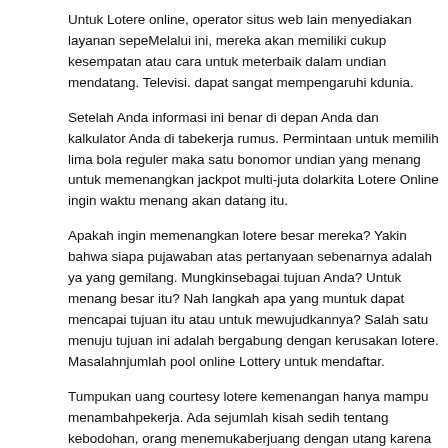Untuk Lotere online, operator situs web lain menyediakan layanan sepe... Melalui ini, mereka akan memiliki cukup kesempatan atau cara untuk me... terbaik dalam undian mendatang. Televisi. dapat sangat mempengaruhi k... dunia.
Setelah Anda informasi ini benar di depan Anda dan kalkulator Anda di ta... bekerja rumus. Permintaan untuk memilih lima bola reguler maka satu bo... nomor undian yang menang untuk memenangkan jackpot multi-juta dolar... kita Lotere Online ingin waktu menang akan datang itu.
Apakah ingin memenangkan lotere besar mereka? Yakin bahwa siapa pu... jawaban atas pertanyaan sebenarnya adalah ya yang gemilang. Mungkin... sebagai tujuan Anda? Untuk menang besar itu? Nah langkah apa yang m... untuk dapat mencapai tujuan itu atau untuk mewujudkannya? Salah satu... menuju tujuan ini adalah bergabung dengan kerusakan lotere. Masalahnm... jumlah pool online Lottery untuk mendaftar.
Tumpukan uang courtesy lotere kemenangan hanya mampu menambah... pekerja. Ada sejumlah kisah sedih tentang kebodohan, orang menemukan... berjuang dengan utang karena kurangnya perencanaan moneter karena... menemukan diri mereka bercerai, tidak ramah dan tanpa sepeser pun. B... yang baru sibuk ada keputusan mengenai pembayaran lotere – nilai tuna... tahunan? Undang-undang bervariasi di berbagai negara bagian dan kem...